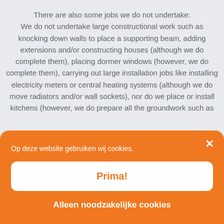There are also some jobs we do not undertake: We do not undertake large constructional work such as knocking down walls to place a supporting beam, adding extensions and/or constructing houses (although we do complete them), placing dormer windows (however, we do complete them), carrying out large installation jobs like installing electricity meters or central heating systems (although we do move radiators and/or wall sockets), nor do we place or install kitchens (however, we do prepare all the groundwork such as
[Figure (screenshot): Orange cookie consent overlay with close button (×), text 'Op deze website gebruiken wij cookies.', a white 'Prima!' button with orange text, and a white 'Alleen noodzakelijke cookies' text button.]